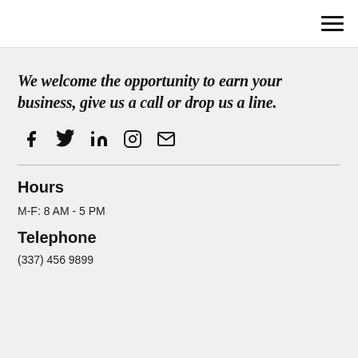Navigation bar with hamburger menu icon
We welcome the opportunity to earn your business, give us a call or drop us a line.
[Figure (infographic): Row of social media icons: Facebook (f), Twitter (bird), LinkedIn (in), Instagram (camera), Email (envelope)]
Hours
M-F: 8 AM - 5 PM
Telephone
(337) 456 9899